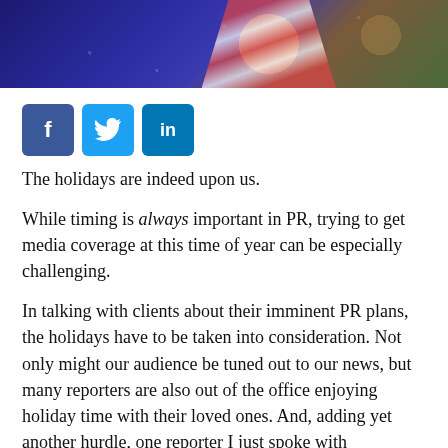[Figure (photo): Holiday scene photo showing a person wearing a red and white striped scarf against a night sky background with snow and a shop front]
[Figure (infographic): Social media share buttons: Facebook (blue square with f), Twitter (light blue square with bird), LinkedIn (teal square with in)]
The holidays are indeed upon us.
While timing is always important in PR, trying to get media coverage at this time of year can be especially challenging.
In talking with clients about their imminent PR plans, the holidays have to be taken into consideration. Not only might our audience be tuned out to our news, but many reporters are also out of the office enjoying holiday time with their loved ones. And, adding yet another hurdle, one reporter I just spoke with mentioned that the holiday changes his newspaper's production schedule.
Considering your schedule, the reporter or publication's schedule and your target audience's schedules, PR timing